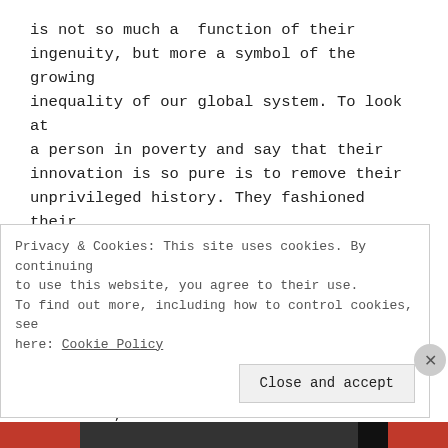is not so much a function of their ingenuity, but more a symbol of the growing inequality of our global system. To look at a person in poverty and say that their innovation is so pure is to remove their unprivileged history. They fashioned their own door hinges out of shoe soles because it was either too expensive to afford metal hinges or there was just nowhere to purchase them. They find new ways to keep cars running, use bicycles parts for windmills, and turn microfinance funds into a livelihood
Privacy & Cookies: This site uses cookies. By continuing to use this website, you agree to their use. To find out more, including how to control cookies, see here: Cookie Policy
Close and accept